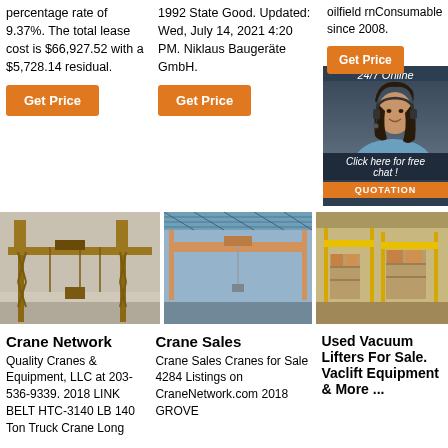percentage rate of 9.37%. The total lease cost is $66,927.52 with a $5,728.14 residual.
Get Price
1992 State Good. Updated: Wed, July 14, 2021 4:20 PM. Niklaus Baugeräte GmbH.
Get Price
oilfield rnConsumable since 2008.
Get Price
24/7 Online
Click here for free chat!
QUOTATION
[Figure (photo): Gantry crane structure outdoors]
[Figure (photo): Overhead crane inside industrial building]
[Figure (photo): Large warehouse with yellow cranes]
Crane Network
Quality Cranes & Equipment, LLC at 203-536-9339. 2018 LINK BELT HTC-3140 LB 140 Ton Truck Crane Long
Crane Sales
Crane Sales Cranes for Sale 4284 Listings on CraneNetwork.com 2018 GROVE
Used Vacuum Lifters For Sale. Vaclift Equipment & More ...